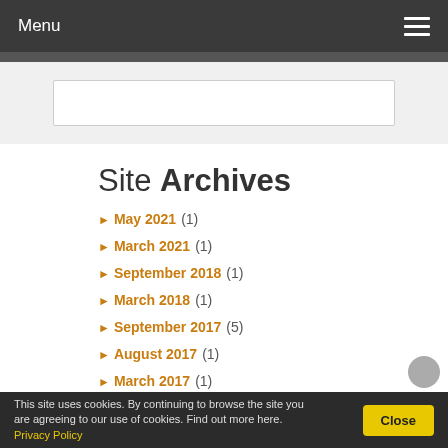Menu
Site Archives
May 2021 (1)
March 2021 (1)
September 2018 (1)
March 2018 (1)
September 2017 (5)
August 2017 (1)
March 2017 (1)
This site uses cookies. By continuing to browse the site you are agreeing to our use of cookies. Find out more here. Privacy Policy